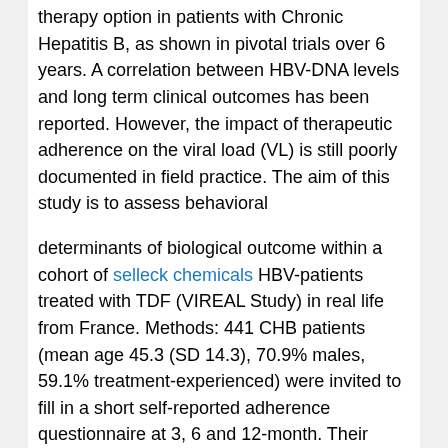therapy option in patients with Chronic Hepatitis B, as shown in pivotal trials over 6 years. A correlation between HBV-DNA levels and long term clinical outcomes has been reported. However, the impact of therapeutic adherence on the viral load (VL) is still poorly documented in field practice. The aim of this study is to assess behavioral
determinants of biological outcome within a cohort of selleck chemicals HBV-patients treated with TDF (VIREAL Study) in real life from France. Methods: 441 CHB patients (mean age 45.3 (SD 14.3), 70.9% males, 59.1% treatment-experienced) were invited to fill in a short self-reported adherence questionnaire at 3, 6 and 12-month. Their practitioners were also invited on the same visits to answer a short questionnaire describing patients' knowledge about their disease, motivation, reluctance to be treated, mood, and therapeutic partnership with the practitioner. The questionnaire used three ratings to
report treatment adherence: good adherence, minor